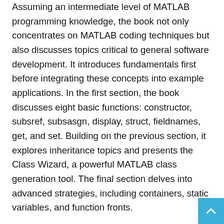Assuming an intermediate level of MATLAB programming knowledge, the book not only concentrates on MATLAB coding techniques but also discusses topics critical to general software development. It introduces fundamentals first before integrating these concepts into example applications. In the first section, the book discusses eight basic functions: constructor, subsref, subsasgn, display, struct, fieldnames, get, and set. Building on the previous section, it explores inheritance topics and presents the Class Wizard, a powerful MATLAB class generation tool. The final section delves into advanced strategies, including containers, static variables, and function fronts.
With more than 20 years of experience designing and implementing object-oriented software, the expert author has developed an accessible and comprehensive book that aids readers in creating effective object-oriented software using MATLAB